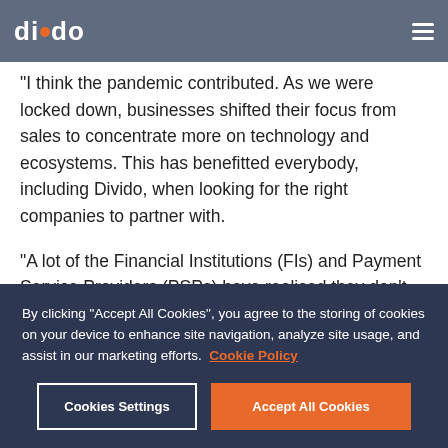[Figure (logo): Divido logo — white text with orange dot between di and do]
“I think the pandemic contributed. As we were locked down, businesses shifted their focus from sales to concentrate more on technology and ecosystems. This has benefitted everybody, including Divido, when looking for the right companies to partner with.
“A lot of the Financial Institutions (FIs) and Payment Service Providers (PSPs) have realised they don’t have the expertise in-house to build the sort of tech that we and other partners are offering. It’s been key for these organisations to understand that there are really good partners out there
By clicking “Accept All Cookies”, you agree to the storing of cookies on your device to enhance site navigation, analyze site usage, and assist in our marketing efforts. Cookie Policy
Cookies Settings
Accept All Cookies